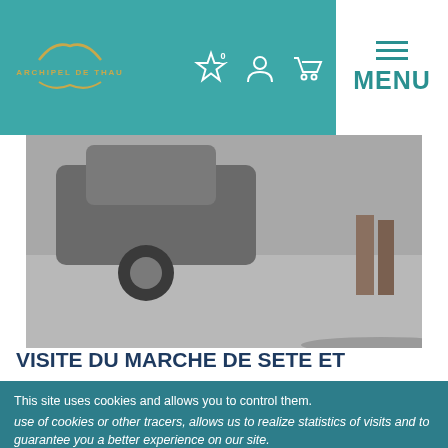ARCHIPEL DE THAU — MENU
[Figure (screenshot): Partial view of a person standing near a car on a street, bottom portion of image visible]
VISITE DU MARCHE DE SETE ET
This site uses cookies and allows you to control them. use of cookies or other tracers, allows us to realize statistics of visits and to guarantee you a better experience on our site.
OK, accept everything
No, refuse all
Personalize